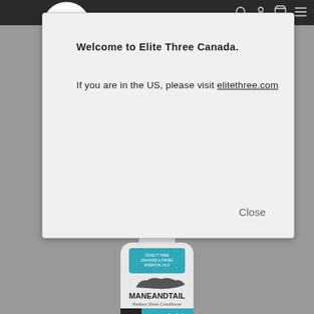Elite Three Canada - header with logo and nav icons
Welcome to Elite Three Canada.
If you are in the US, please visit elitethree.com
Close
[Figure (photo): A bottle of Mane and Tail Radiant Shine Conditioner product, white bottle with teal label, on gray background]